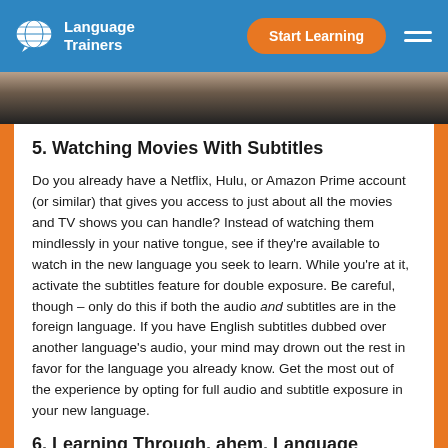Language Trainers | Start Learning
[Figure (photo): Partial photo strip showing blurred image at top of article]
5. Watching Movies With Subtitles
Do you already have a Netflix, Hulu, or Amazon Prime account (or similar) that gives you access to just about all the movies and TV shows you can handle? Instead of watching them mindlessly in your native tongue, see if they're available to watch in the new language you seek to learn. While you're at it, activate the subtitles feature for double exposure. Be careful, though – only do this if both the audio and subtitles are in the foreign language. If you have English subtitles dubbed over another language's audio, your mind may drown out the rest in favor for the language you already know. Get the most out of the experience by opting for full audio and subtitle exposure in your new language.
6. Learning Through, ahem, Language Trainers